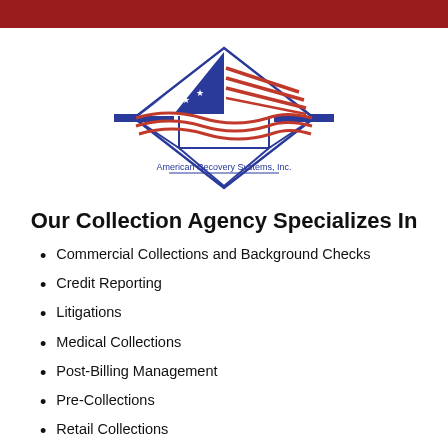[Figure (logo): American Recovery Systems, Inc. logo featuring a diamond shape with an American flag motif (stars and stripes) inside a triangle, flanked by horizontal bars, with company name below.]
Our Collection Agency Specializes In
Commercial Collections and Background Checks
Credit Reporting
Litigations
Medical Collections
Post-Billing Management
Pre-Collections
Retail Collections
Skip Tracing Services